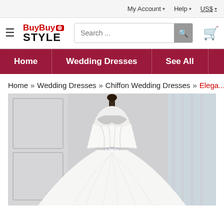My Account ▾   Help ▾   US$ ▾
[Figure (logo): BuyBuyStyle logo with hamburger menu, search bar, and shopping cart icon]
Home  |  Wedding Dresses  |  See All
Home » Wedding Dresses » Chiffon Wedding Dresses » Elega...
[Figure (photo): Elegant white strapless chiffon wedding dress with sweetheart neckline and crystal beaded belt, displayed on a mannequin in a bright room with white paneled walls and windows]